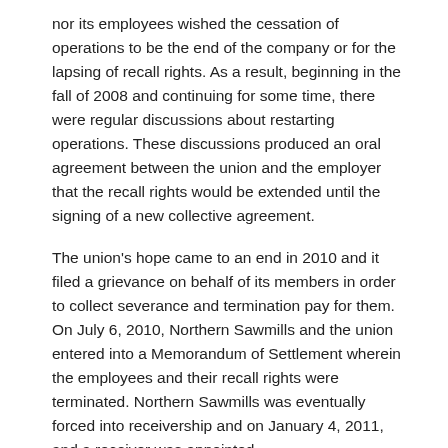nor its employees wished the cessation of operations to be the end of the company or for the lapsing of recall rights. As a result, beginning in the fall of 2008 and continuing for some time, there were regular discussions about restarting operations. These discussions produced an oral agreement between the union and the employer that the recall rights would be extended until the signing of a new collective agreement.
The union's hope came to an end in 2010 and it filed a grievance on behalf of its members in order to collect severance and termination pay for them. On July 6, 2010, Northern Sawmills and the union entered into a Memorandum of Settlement wherein the employees and their recall rights were terminated. Northern Sawmills was eventually forced into receivership and on January 4, 2011, and a receiver was appointed.